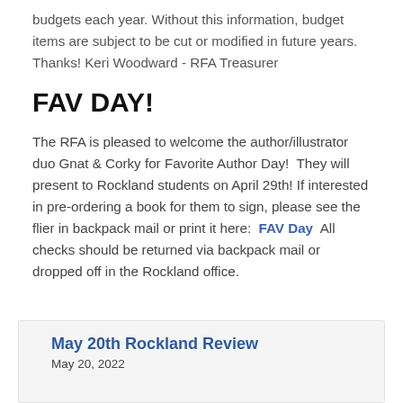budgets each year. Without this information, budget items are subject to be cut or modified in future years.  Thanks! Keri Woodward - RFA Treasurer
FAV DAY!
The RFA is pleased to welcome the author/illustrator duo Gnat & Corky for Favorite Author Day!  They will present to Rockland students on April 29th! If interested in pre-ordering a book for them to sign, please see the flier in backpack mail or print it here:  FAV Day  All checks should be returned via backpack mail or dropped off in the Rockland office.
May 20th Rockland Review